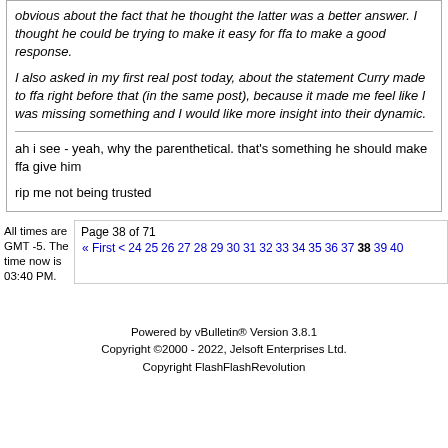obvious about the fact that he thought the latter was a better answer. I thought he could be trying to make it easy for ffa to make a good response.

I also asked in my first real post today, about the statement Curry made to ffa right before that (in the same post), because it made me feel like I was missing something and I would like more insight into their dynamic.
ah i see - yeah, why the parenthetical. that's something he should make ffa give him

rip me not being trusted
All times are GMT -5. The time now is 03:40 PM.
Page 38 of 71 « First < 24 25 26 27 28 29 30 31 32 33 34 35 36 37 38 39 40...
Powered by vBulletin® Version 3.8.1
Copyright ©2000 - 2022, Jelsoft Enterprises Ltd.
Copyright FlashFlashRevolution